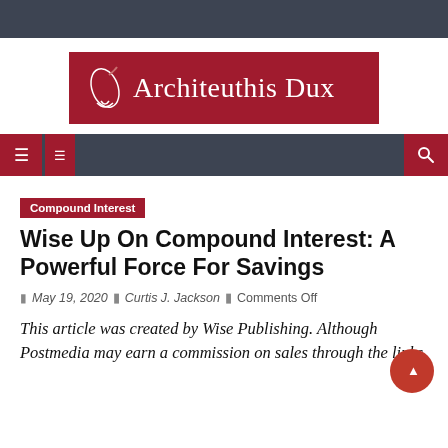[Figure (logo): Architeuthis Dux logo — red rectangle with white italic text and a stylized squid/pen icon on the left]
Navigation bar with menu icons and search icon
Compound Interest
Wise Up On Compound Interest: A Powerful Force For Savings
May 19, 2020  |  Curtis J. Jackson  |  Comments Off
This article was created by Wise Publishing. Although Postmedia may earn a commission on sales through the links